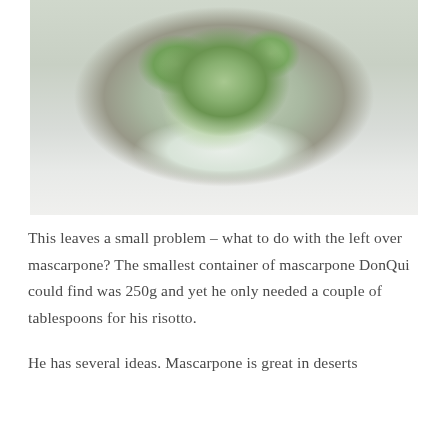[Figure (photo): A plate of risotto with green vegetables (asparagus or peas) and mascarpone cheese, viewed from above on a white plate.]
This leaves a small problem – what to do with the left over mascarpone? The smallest container of mascarpone DonQui could find was 250g and yet he only needed a couple of tablespoons for his risotto.
He has several ideas. Mascarpone is great in deserts